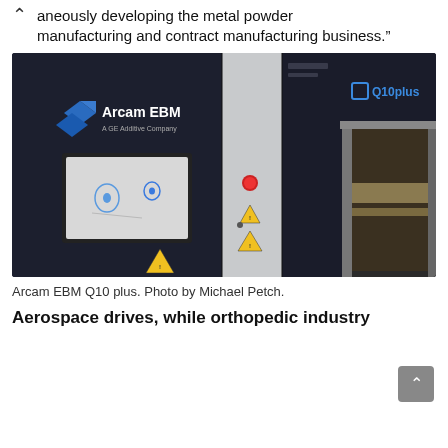aneously developing the metal powder manufacturing and contract manufacturing business.”
[Figure (photo): Arcam EBM Q10 plus machine - an industrial 3D printing / electron beam melting machine. The machine is dark navy/black colored with the ArcamEBM A GE Additive Company logo on the left panel, and Q10plus branding on the right panel. It has a touchscreen display, a red emergency stop button, yellow warning triangle stickers, and an open chamber on the right showing internal components.]
Arcam EBM Q10 plus. Photo by Michael Petch.
Aerospace drives, while orthopedic industry